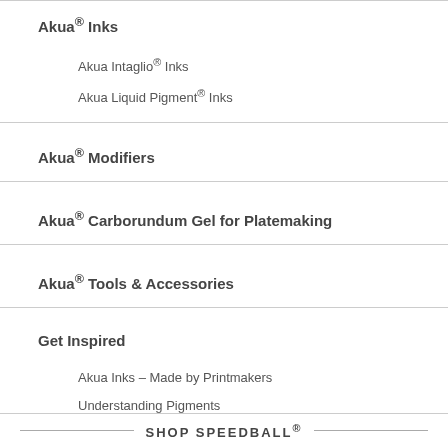Akua® Inks
Akua Intaglio® Inks
Akua Liquid Pigment® Inks
Akua® Modifiers
Akua® Carborundum Gel for Platemaking
Akua® Tools & Accessories
Get Inspired
Akua Inks – Made by Printmakers
Understanding Pigments
Akua Printmaking Articles
Demonstrations & Workshops
The Akua® Demo Artist Program
SHOP SPEEDBALL®